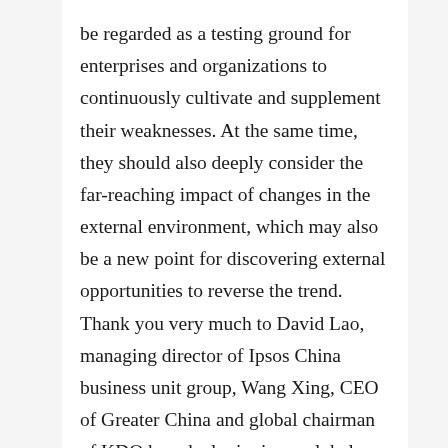be regarded as a testing ground for enterprises and organizations to continuously cultivate and supplement their weaknesses. At the same time, they should also deeply consider the far-reaching impact of changes in the external environment, which may also be a new point for discovering external opportunities to reverse the trend. Thank you very much to David Lao, managing director of Ipsos China business unit group, Wang Xing, CEO of Greater China and global chairman of KDO brandz, luxiuqiong, global expert partner of Bain, weijunxian, chairman of the board of directors of Dacheng Food Asia, shiyonglei, chairman of laiyifen, zhangchun, President of oatly Asia Pacific